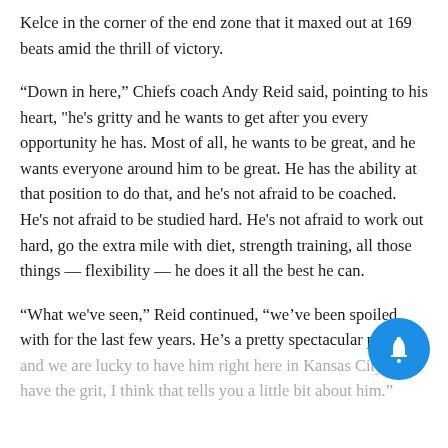Kelce in the corner of the end zone that it maxed out at 169 beats amid the thrill of victory.
“Down in here,” Chiefs coach Andy Reid said, pointing to his heart, "he's gritty and he wants to get after you every opportunity he has. Most of all, he wants to be great, and he wants everyone around him to be great. He has the ability at that position to do that, and he's not afraid to be coached. He's not afraid to be studied hard. He's not afraid to work out hard, go the extra mile with diet, strength training, all those things — flexibility — he does it all the best he can.
“What we've seen,” Reid continued, “we’ve been spoiled with for the last few years. He’s a pretty spectacular player and we are lucky to have him right here in Kansas City. To have the grit, I think that tells you a little bit about him.”